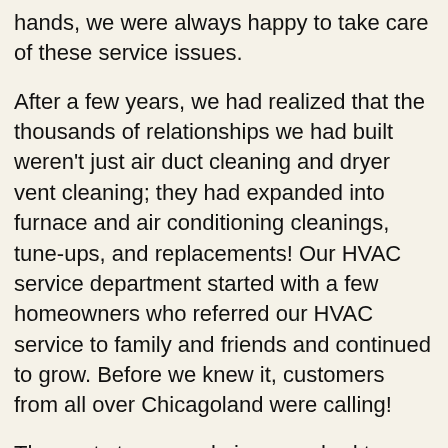hands, we were always happy to take care of these service issues.
After a few years, we had realized that the thousands of relationships we had built weren't just air duct cleaning and dryer vent cleaning; they had expanded into furnace and air conditioning cleanings, tune-ups, and replacements! Our HVAC service department started with a few homeowners who referred our HVAC service to family and friends and continued to grow. Before we knew it, customers from all over Chicagoland were calling!
The next step was obvious; we had to expand our services and give our customers someone to trust in the HVAC department.
After this long road, Mr. Duct is proud to announce its new HVAC division. We appreciate the trust that our customers have put in us and we want to continue building that